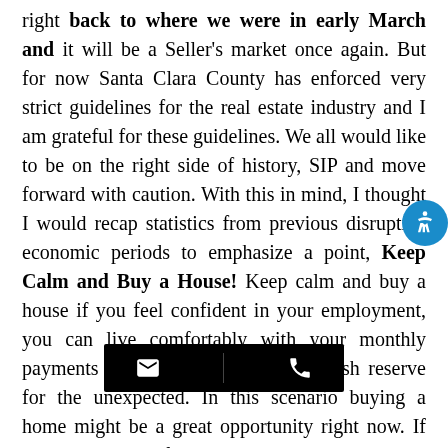right back to where we were in early March and it will be a Seller's market once again. But for now Santa Clara County has enforced very strict guidelines for the real estate industry and I am grateful for these guidelines. We all would like to be on the right side of history, SIP and move forward with caution. With this in mind, I thought I would recap statistics from previous disruptive economic periods to emphasize a point, Keep Calm and Buy a House! Keep calm and buy a house if you feel confident in your employment, you can live comfortably with your monthly payments and you have a 6 month cash reserve for the unexpected. In this scenario buying a home might be a great opportunity right now. If you are unsure of your economic status, stay on the sidelines and [obscured] being or proceed with caution. For those who do not feel